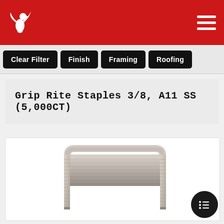Grip Rite - Eagle Fastener website header with logo and hamburger menu
Clear Filter
Finish
Framing
Roofing
Grip Rite Staples 3/8, A11 SS (5,000CT)
[Figure (photo): Close-up photo of stainless steel staples stacked together showing ridged metal U-shaped staples in a group]